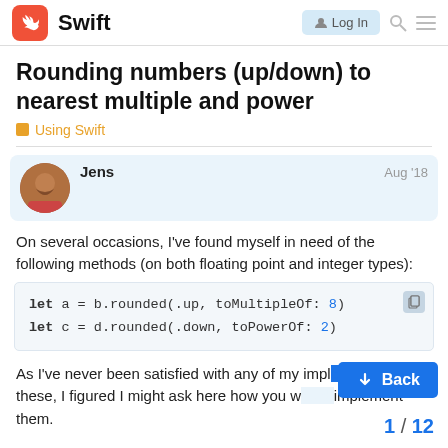Swift — Log In
Rounding numbers (up/down) to nearest multiple and power
Using Swift
Jens — Aug '18
On several occasions, I've found myself in need of the following methods (on both floating point and integer types):
As I've never been satisfied with any of my implementations of these, I figured I might ask here how you would implement them.
1 / 12